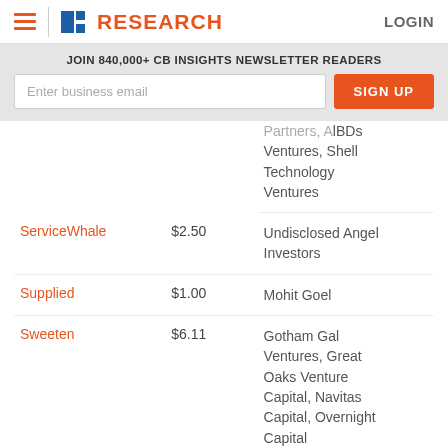CB INSIGHTS RESEARCH | LOGIN
JOIN 840,000+ CB INSIGHTS NEWSLETTER READERS
| Company | Amount | Investors |
| --- | --- | --- |
| (partial) |  | Partners, AlBDs Ventures, Shell Technology Ventures |
| ServiceWhale | $2.50 | Undisclosed Angel Investors |
| Supplied | $1.00 | Mohit Goel |
| Sweeten | $6.11 | Gotham Gal Ventures, Great Oaks Venture Capital, Navitas Capital, Overnight Capital |
| (partial) |  | BayBG, INVEN |